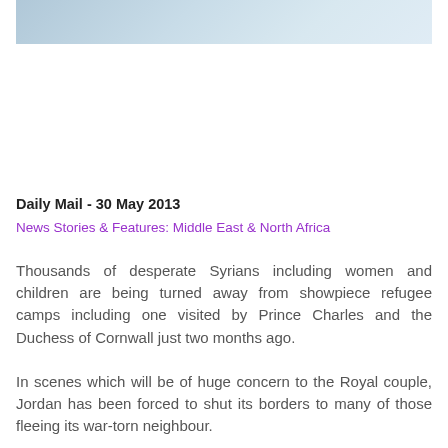[Figure (photo): Partial photograph strip at the top of the page, showing a faint outdoor scene with a figure visible on the right side]
Daily Mail - 30 May 2013
News Stories & Features: Middle East & North Africa
Thousands of desperate Syrians including women and children are being turned away from showpiece refugee camps including one visited by Prince Charles and the Duchess of Cornwall just two months ago.
In scenes which will be of huge concern to the Royal couple, Jordan has been forced to shut its borders to many of those fleeing its war-torn neighbour.